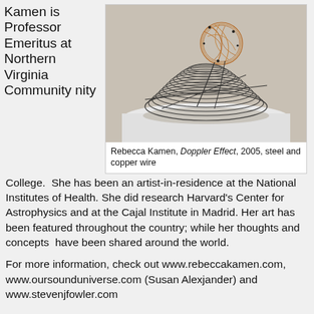Kamen is Professor Emeritus at Northern Virginia Community College.
[Figure (photo): Sculpture by Rebecca Kamen titled 'Doppler Effect', 2005, made of steel and copper wire. The sculpture appears as a series of concentric circular wire rings forming a spiral disk shape with a tangled copper wire sphere on top, displayed on a white surface.]
Rebecca Kamen, Doppler Effect, 2005, steel and copper wire
College.  She has been an artist-in-residence at the National Institutes of Health. She did research Harvard's Center for Astrophysics and at the Cajal Institute in Madrid. Her art has been featured throughout the country; while her thoughts and concepts  have been shared around the world.
For more information, check out www.rebeccakamen.com, www.oursounduniverse.com (Susan Alexjander) and www.stevenjfowler.com